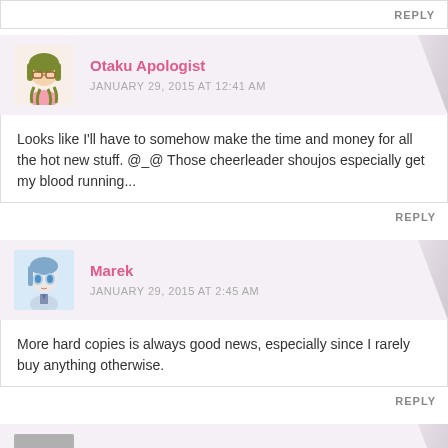REPLY
Otaku Apologist
JANUARY 29, 2015 AT 12:41 AM
Looks like I'll have to somehow make the time and money for all the hot new stuff. @_@ Those cheerleader shoujos especially get my blood running...
REPLY
Marek
JANUARY 29, 2015 AT 2:45 AM
More hard copies is always good news, especially since I rarely buy anything otherwise.
REPLY
Stay Night
JANUARY 29, 2015 AT 3:46 AM
I'm really looking forward to 2015, I've already bought eden and